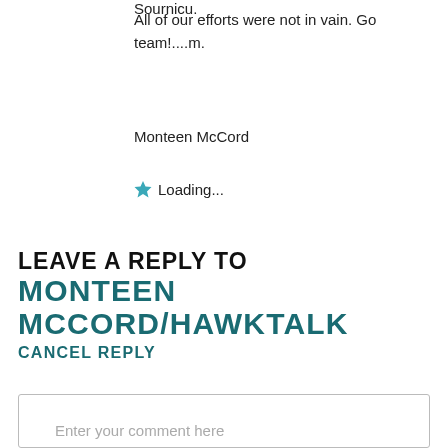All of our efforts were not in vain. Go team!....m.
Monteen McCord
★ Loading...
LEAVE A REPLY TO MONTEEN MCCORD/HAWKTALK CANCEL REPLY
Enter your comment here